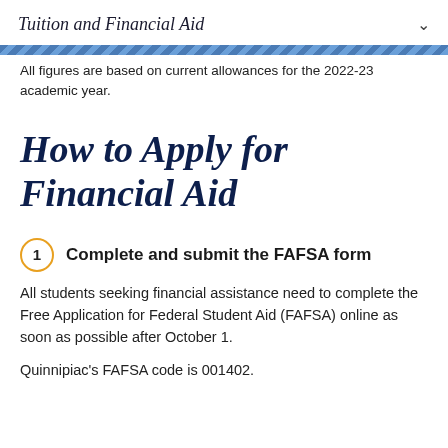Tuition and Financial Aid
All figures are based on current allowances for the 2022-23 academic year.
How to Apply for Financial Aid
1  Complete and submit the FAFSA form
All students seeking financial assistance need to complete the Free Application for Federal Student Aid (FAFSA) online as soon as possible after October 1.
Quinnipiac's FAFSA code is 001402.